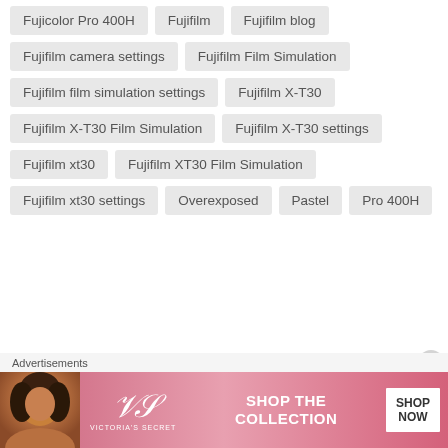Fujicolor Pro 400H
Fujifilm
Fujifilm blog
Fujifilm camera settings
Fujifilm Film Simulation
Fujifilm film simulation settings
Fujifilm X-T30
Fujifilm X-T30 Film Simulation
Fujifilm X-T30 settings
Fujifilm xt30
Fujifilm XT30 Film Simulation
Fujifilm xt30 settings
Overexposed
Pastel
Pro 400H
Advertisements
[Figure (photo): Victoria's Secret advertisement banner with a woman model, VS logo, 'SHOP THE COLLECTION' text, and 'SHOP NOW' button]